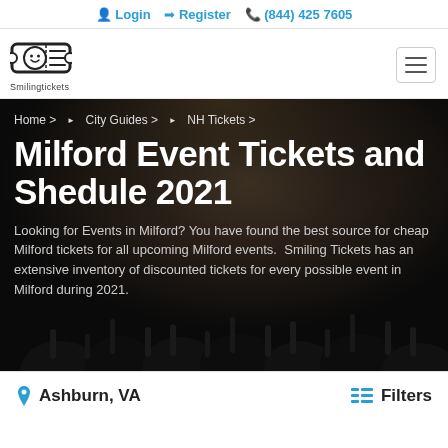Login  Register  (844) 425 7605
[Figure (logo): Smiling Tickets logo — a ticket-shaped icon with a smiley face, and 'SmilingTickets' text below]
[Figure (photo): Dark concert crowd photo used as hero background with raised hands silhouetted against a spotlight]
Home >  ▶  City Guides >  ▶  NH Tickets >
Milford Event Tickets and Shedule 2021
Looking for Events in Milford? You have found the best source for cheap Milford tickets for all upcoming Milford events.  Smiling Tickets has an extensive inventory of discounted tickets for every possible event in Milford during 2021.
📍 Ashburn, VA
≡ Filters